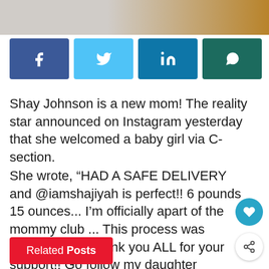[Figure (photo): Cropped photo of a person at the top of the page]
[Figure (infographic): Social media share buttons: Facebook (blue), Twitter (light blue), LinkedIn (dark blue), WhatsApp (dark teal)]
Shay Johnson is a new mom! The reality star announced on Instagram yesterday that she welcomed a baby girl via C-section.
She wrote, “HAD A SAFE DELIVERY and @iamshajiyah is perfect!! 6 pounds 15 ounces... I’m officially apart of the mommy club ... This process was emotional but thank you ALL for your support!! Go follow my daughter @iamshajiyah.”
Related Posts